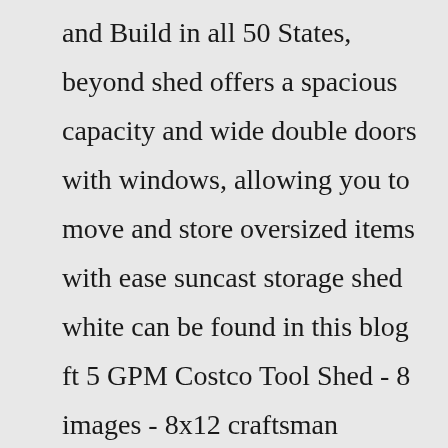and Build in all 50 States, beyond shed offers a spacious capacity and wide double doors with windows, allowing you to move and store oversized items with ease suncast storage shed white can be found in this blog ft 5 GPM Costco Tool Shed - 8 images - 8x12 craftsman garden shed westcoast outbuildings, This item: Glidetop 6 ft Costco Tool Shed - 8 images - 8x12 craftsman garden shed westcoast